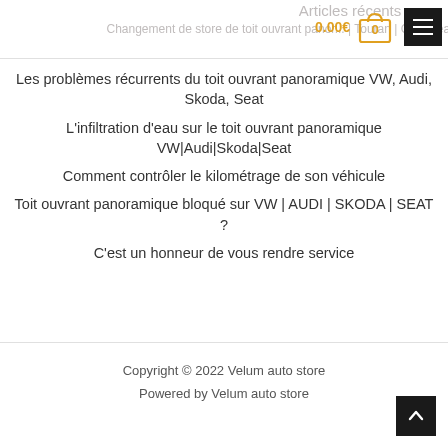Articles récents — Changement de store de toit ouvrant panoramique | Touran | Golf break | Audi Q5 | Skoda | Seat — 0.00€ [0]
Les problèmes récurrents du toit ouvrant panoramique VW, Audi, Skoda, Seat
L'infiltration d'eau sur le toit ouvrant panoramique VW|Audi|Skoda|Seat
Comment contrôler le kilométrage de son véhicule
Toit ouvrant panoramique bloqué sur VW | AUDI | SKODA | SEAT ?
C'est un honneur de vous rendre service
Copyright © 2022 Velum auto store
Powered by Velum auto store